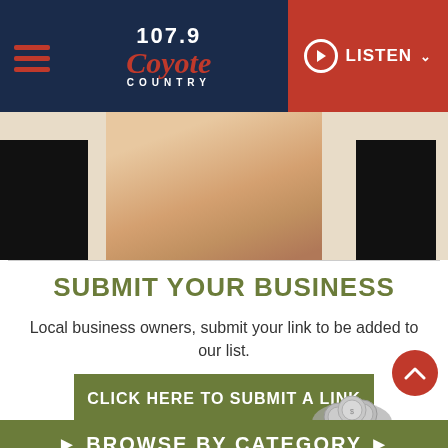107.9 Coyote Country — LISTEN
[Figure (photo): Cropped image of a person in a light-colored cardigan, flanked by two black rectangles on left and right]
SUBMIT YOUR BUSINESS
Local business owners, submit your link to be added to our list.
CLICK HERE TO SUBMIT A LINK
BROWSE BY CATEGORY